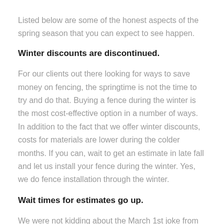Listed below are some of the honest aspects of the spring season that you can expect to see happen.
Winter discounts are discontinued.
For our clients out there looking for ways to save money on fencing, the springtime is not the time to try and do that. Buying a fence during the winter is the most cost-effective option in a number of ways. In addition to the fact that we offer winter discounts, costs for materials are lower during the colder months. If you can, wait to get an estimate in late fall and let us install your fence during the winter. Yes, we do fence installation through the winter.
Wait times for estimates go up.
We were not kidding about the March 1st joke from